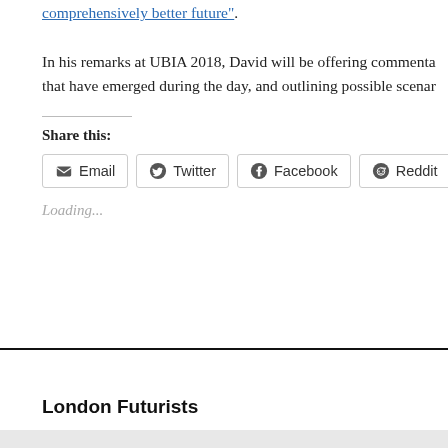comprehensively better future".
In his remarks at UBIA 2018, David will be offering commentary on the themes that have emerged during the day, and outlining possible scenarios…
Share this:
Email  Twitter  Facebook  Reddit  LinkedIn
Loading...
London Futurists